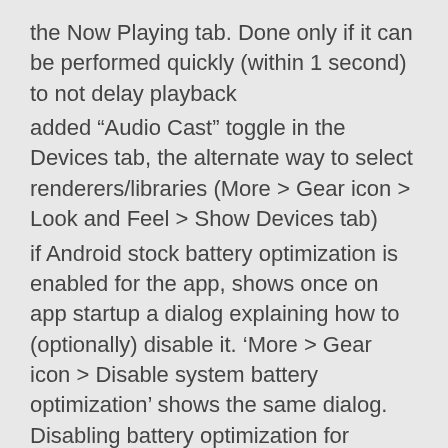the Now Playing tab. Done only if it can be performed quickly (within 1 second) to not delay playback
added “Audio Cast” toggle in the Devices tab, the alternate way to select renderers/libraries (More > Gear icon > Look and Feel > Show Devices tab)
if Android stock battery optimization is enabled for the app, shows once on app startup a dialog explaining how to (optionally) disable it. ‘More > Gear icon > Disable system battery optimization’ shows the same dialog. Disabling battery optimization for BubbleUPnP can be important for the app to work properly in the background and when screen is off
if download (or all) notifications are disabled in